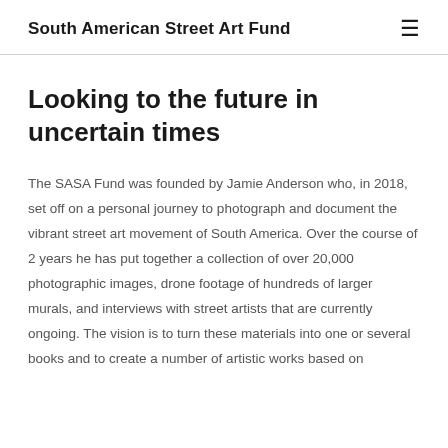South American Street Art Fund
Looking to the future in uncertain times
The SASA Fund was founded by Jamie Anderson who, in 2018, set off on a personal journey to photograph and document the vibrant street art movement of South America. Over the course of 2 years he has put together a collection of over 20,000 photographic images, drone footage of hundreds of larger murals, and interviews with street artists that are currently ongoing. The vision is to turn these materials into one or several books and to create a number of artistic works based on